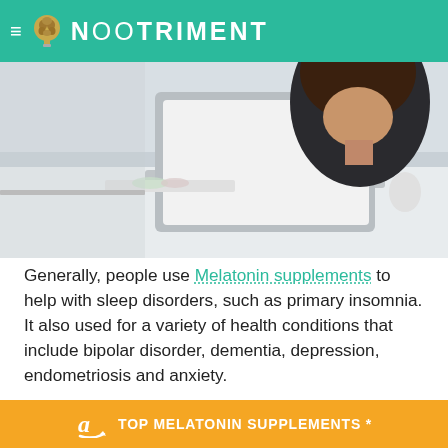NOOTRIMENT
[Figure (photo): Person sitting at a desk with an open laptop, viewed from behind/side, in an office setting.]
Generally, people use Melatonin supplements to help with sleep disorders, such as primary insomnia. It also used for a variety of health conditions that include bipolar disorder, dementia, depression, endometriosis and anxiety.
Melatonin is a ho... the brain to
TOP MELATONIN SUPPLEMENTS *